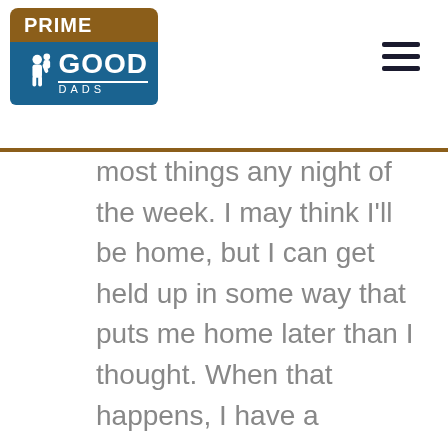[Figure (logo): Prime Good Dads logo — brown top bar with PRIME text, blue bottom bar with silhouette of adult and child and GOOD DADS text]
[Figure (other): Hamburger menu icon — three horizontal dark lines]
most things any night of the week. I may think I'll be home, but I can get held up in some way that puts me home later than I thought. When that happens, I have a